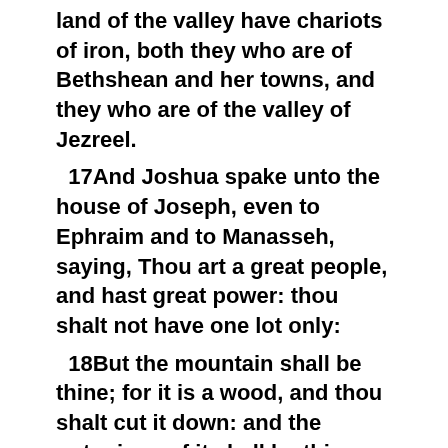land of the valley have chariots of iron, both they who are of Bethshean and her towns, and they who are of the valley of Jezreel.
17And Joshua spake unto the house of Joseph, even to Ephraim and to Manasseh, saying, Thou art a great people, and hast great power: thou shalt not have one lot only:
18But the mountain shall be thine; for it is a wood, and thou shalt cut it down: and the outgoings of it shall be thine: for thou shalt drive out the Canaanites, though they have iron chariots, and though they be strong.